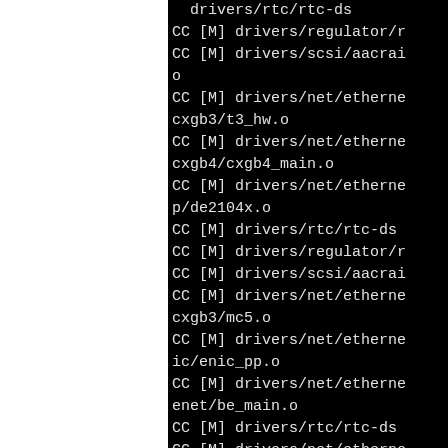CC [M] drivers/rtc/rtc-ds...
CC [M] drivers/regulator/r...
CC [M] drivers/scsi/aacrai...
o
CC [M] drivers/net/etherne...
cxgb3/t3_hw.o
CC [M] drivers/net/etherne...
cxgb4/cxgb4_main.o
CC [M] drivers/net/etherne...
p/de2104x.o
CC [M] drivers/rtc/rtc-ds...
CC [M] drivers/regulator/r...
CC [M] drivers/scsi/aacrai...
CC [M] drivers/net/etherne...
cxgb3/mc5.o
CC [M] drivers/net/etherne...
ic/enic_pp.o
CC [M] drivers/net/etherne...
enet/be_main.o
CC [M] drivers/rtc/rtc-ds...
CC [M] drivers/net/etherne...
p/eeprom.o
CC [M] drivers/regulator/r...
CC [M] drivers/net/etherne...